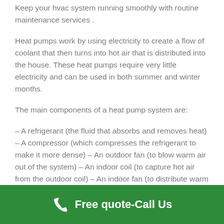Keep your hvac system running smoothly with routine maintenance services .
Heat pumps work by using electricity to create a flow of coolant that then turns into hot air that is distributed into the house. These heat pumps require very little electricity and can be used in both summer and winter months.
The main components of a heat pump system are:
– A refrigerant (the fluid that absorbs and removes heat) – A compressor (which compresses the refrigerant to make it more dense) – An outdoor fan (to blow warm air out of the system) – An indoor coil (to capture hot air from the outdoor coil) – An indoor fan (to distribute warm air through your home)
Free quote-Call Us